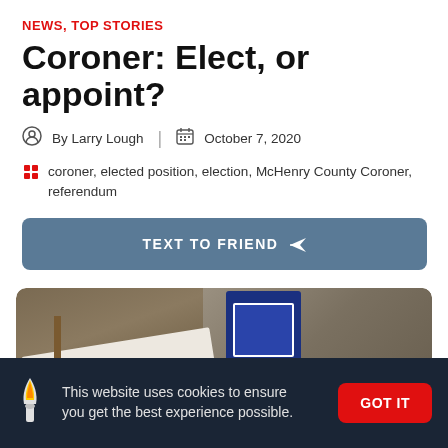NEWS, TOP STORIES
Coroner: Elect, or appoint?
By Larry Lough | October 7, 2020
coroner, elected position, election, McHenry County Coroner, referendum
TEXT TO FRIEND
[Figure (photo): Photo of campaign yard signs outdoors on gravel, including a white sign and a blue sign, with red brushstroke element visible]
This website uses cookies to ensure you get the best experience possible. GOT IT